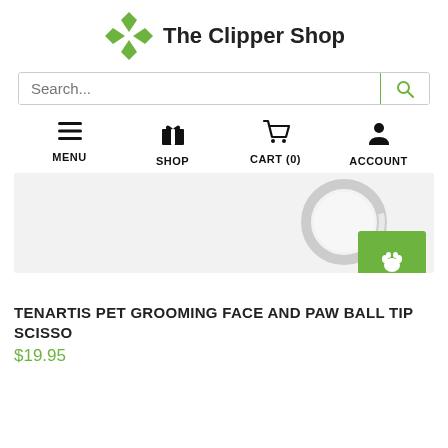[Figure (logo): The Clipper Shop logo with green pinwheel/fan blade icon and bold text 'The Clipper Shop']
[Figure (screenshot): Search bar with placeholder text 'Search...' and a green search button icon on the right]
[Figure (infographic): Navigation icons row: hamburger menu (MENU), gift box (SHOP), shopping cart (CART (0)), person silhouette (ACCOUNT)]
[Figure (photo): Product image area showing partial view of a silver ring on light gray background, with a green paw print button in the lower right]
TENARTIS PET GROOMING FACE AND PAW BALL TIP SCISSO
$19.95